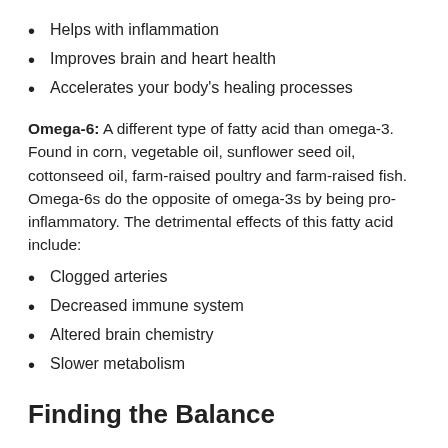Helps with inflammation
Improves brain and heart health
Accelerates your body's healing processes
Omega-6: A different type of fatty acid than omega-3. Found in corn, vegetable oil, sunflower seed oil, cottonseed oil, farm-raised poultry and farm-raised fish. Omega-6s do the opposite of omega-3s by being pro-inflammatory. The detrimental effects of this fatty acid include:
Clogged arteries
Decreased immune system
Altered brain chemistry
Slower metabolism
Finding the Balance